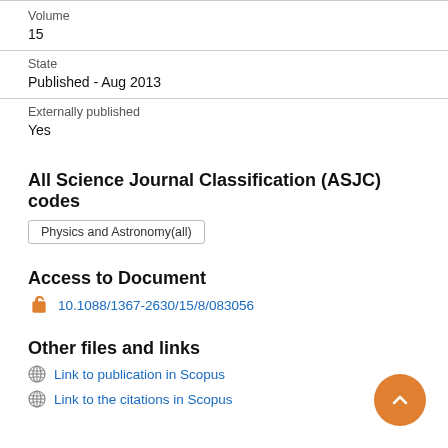Volume
15
State
Published - Aug 2013
Externally published
Yes
All Science Journal Classification (ASJC) codes
Physics and Astronomy(all)
Access to Document
10.1088/1367-2630/15/8/083056
Other files and links
Link to publication in Scopus
Link to the citations in Scopus